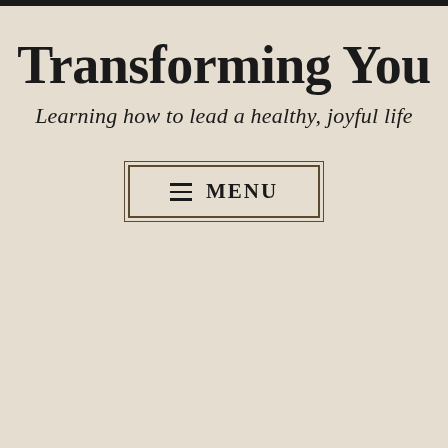Transforming You
Learning how to lead a healthy, joyful life
☰ MENU